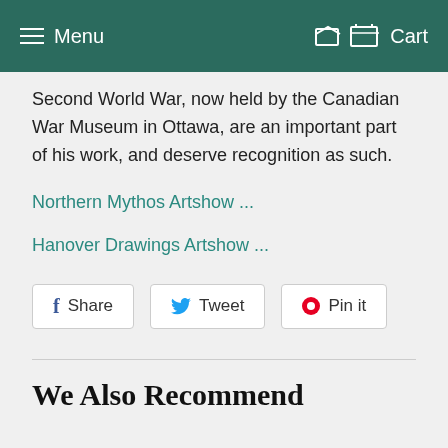Menu   Cart
Second World War, now held by the Canadian War Museum in Ottawa, are an important part of his work, and deserve recognition as such.
Northern Mythos Artshow ...
Hanover Drawings Artshow ...
Share   Tweet   Pin it
We Also Recommend